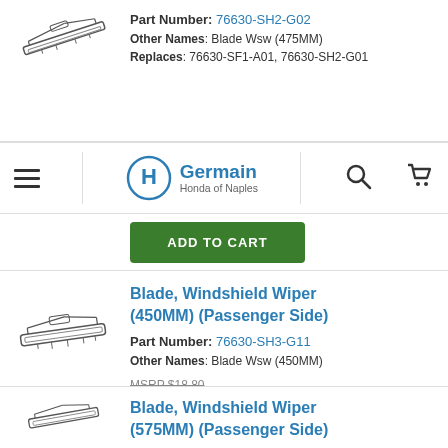Part Number: 76630-SH2-G02
Other Names: Blade Wsw (475MM)
Replaces: 76630-SF1-A01, 76630-SH2-G01
Germain Honda of Naples
ADD TO CART
Blade, Windshield Wiper (450MM) (Passenger Side)
Part Number: 76630-SH3-G11
Other Names: Blade Wsw (450MM)
MSRP $18.80
$14.21
ADD TO CART
Blade, Windshield Wiper (575MM) (Passenger Side)